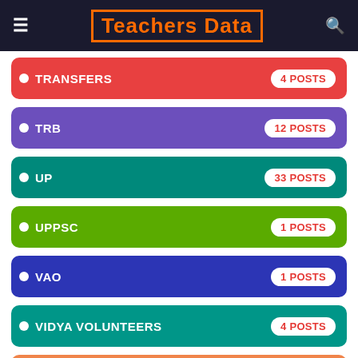Teachers Data
TRANSFERS — 4 POSTS
TRB — 12 POSTS
UP — 33 POSTS
UPPSC — 1 POSTS
VAO — 1 POSTS
VIDYA VOLUNTEERS — 4 POSTS
VRA VRO JOBS — 12 POSTS